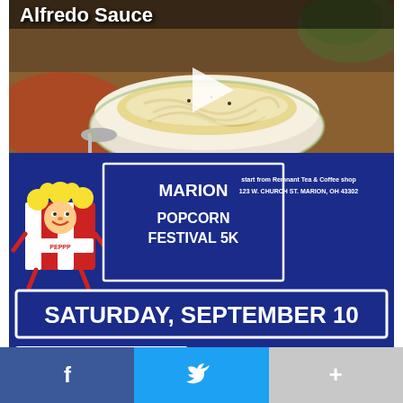[Figure (photo): Food video thumbnail showing a bowl of fettuccine alfredo pasta with creamy white sauce, garnished with pepper. Title overlay reads 'Alfredo Sauce' with a play button in the center.]
[Figure (infographic): Marion Popcorn Festival 5K race event advertisement. Dark blue background with popcorn mascot character. Text: MARION POPCORN FESTIVAL 5K. Start from Remnant Tea & Coffee shop, 123 W. Church St. Marion, OH 43302. SATURDAY, SEPTEMBER 10. $30 Until September 9th, $35 Day of Registration. Registration: 8am, Race Start Time: 9am. REGISTER NOW. City skyline silhouette at bottom.]
Facebook share | Twitter share | More